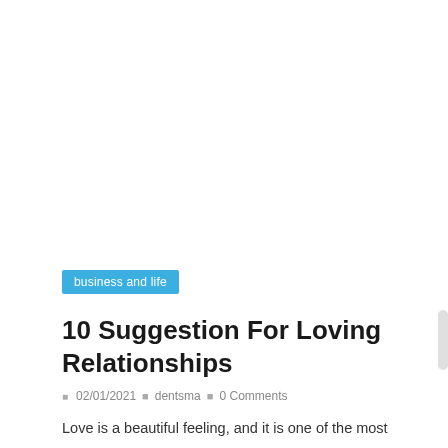business and life
10 Suggestion For Loving Relationships
02/01/2021   dentsma   0 Comments
Love is a beautiful feeling, and it is one of the most